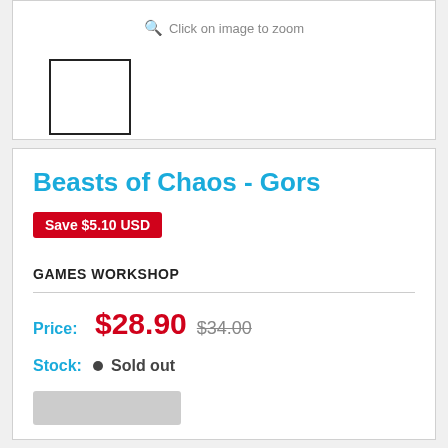[Figure (screenshot): Top panel showing partial product image with zoom hint and thumbnail box]
Click on image to zoom
Beasts of Chaos - Gors
Save $5.10 USD
GAMES WORKSHOP
Price: $28.90  $34.00
Stock: Sold out